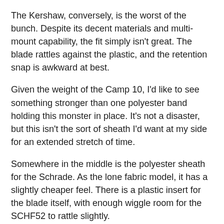The Kershaw, conversely, is the worst of the bunch. Despite its decent materials and multi-mount capability, the fit simply isn't great. The blade rattles against the plastic, and the retention snap is awkward at best.
Given the weight of the Camp 10, I'd like to see something stronger than one polyester band holding this monster in place. It's not a disaster, but this isn't the sort of sheath I'd want at my side for an extended stretch of time.
Somewhere in the middle is the polyester sheath for the Schrade. As the lone fabric model, it has a slightly cheaper feel. There is a plastic insert for the blade itself, with enough wiggle room for the SCHF52 to rattle slightly.
But the fabric button clasp is a marked improvement over the hilt-loop on the Kershaw, resulting in solid retention overall. The Velcro on the pouch and belt loop are strong, though I'm still not a fan of that particular material when it comes to longevity. Still, it provides a comfortable and relatively secure ride – and for half the price of the Steel Will.
Back to the pouch for a second. Schrade has included a